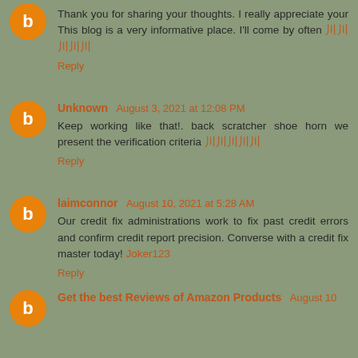Thank you for sharing your thoughts. I really appreciate your This blog is a very informative place. I'll come by often 川川川川川
Reply
Unknown August 3, 2021 at 12:08 PM
Keep working like that!. back scratcher shoe horn we present the verification criteria 川川川川川
Reply
laimconnor August 10, 2021 at 5:28 AM
Our credit fix administrations work to fix past credit errors and confirm credit report precision. Converse with a credit fix master today! Joker123
Reply
Get the best Reviews of Amazon Products August 10